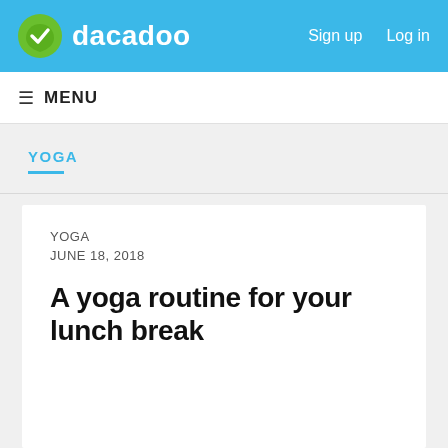dacadoo   Sign up   Log in
MENU
YOGA
YOGA
JUNE 18, 2018
A yoga routine for your lunch break